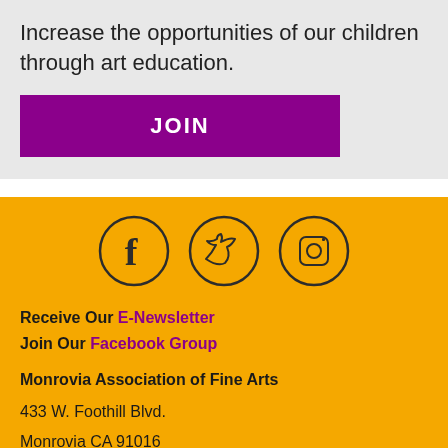Increase the opportunities of our children through art education.
JOIN
[Figure (illustration): Three social media icons in circles: Facebook (f), Twitter (bird), Instagram (camera)]
Receive Our E-Newsletter
Join Our Facebook Group
Monrovia Association of Fine Arts
433 W. Foothill Blvd.
Monrovia CA 91016
(626) 483-0560